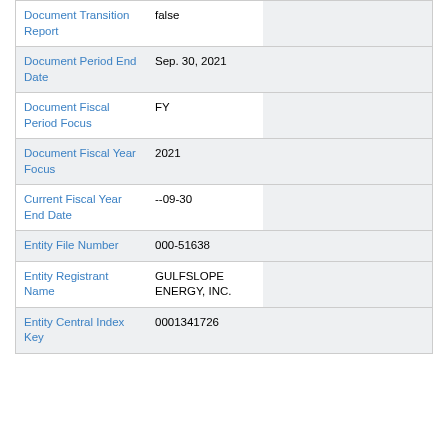| Field | Value |  |  |
| --- | --- | --- | --- |
| Document Transition Report | false |  |  |
| Document Period End Date | Sep. 30, 2021 |  |  |
| Document Fiscal Period Focus | FY |  |  |
| Document Fiscal Year Focus | 2021 |  |  |
| Current Fiscal Year End Date | --09-30 |  |  |
| Entity File Number | 000-51638 |  |  |
| Entity Registrant Name | GULFSLOPE ENERGY, INC. |  |  |
| Entity Central Index Key | 0001341726 |  |  |